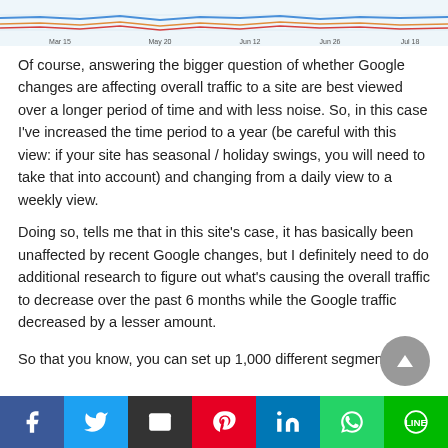[Figure (line-chart): Partial line chart showing web traffic trends with colored lines (blue, orange, red) over a date range from May 15 to Jul 18, with x-axis labels: Mar 15, May 20, Jun 12, Jun 26, Jul 18]
Of course, answering the bigger question of whether Google changes are affecting overall traffic to a site are best viewed over a longer period of time and with less noise. So, in this case I've increased the time period to a year (be careful with this view: if your site has seasonal / holiday swings, you will need to take that into account) and changing from a daily view to a weekly view.
Doing so, tells me that in this site's case, it has basically been unaffected by recent Google changes, but I definitely need to do additional research to figure out what's causing the overall traffic to decrease over the past 6 months while the Google traffic decreased by a lesser amount.
So that you know, you can set up 1,000 different segments